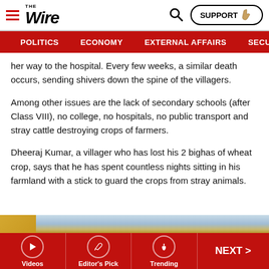THE WIRE — Navigation bar with POLITICS, ECONOMY, EXTERNAL AFFAIRS, SECU[RITY]
her way to the hospital. Every few weeks, a similar death occurs, sending shivers down the spine of the villagers.
Among other issues are the lack of secondary schools (after Class VIII), no college, no hospitals, no public transport and stray cattle destroying crops of farmers.
Dheeraj Kumar, a villager who has lost his 2 bighas of wheat crop, says that he has spent countless nights sitting in his farmland with a stick to guard the crops from stray animals.
[Figure (photo): Partial image of a wheat field or harvested crop with blue sky, partially visible at the bottom of the page.]
Videos | Editor's Pick | Trending | NEXT >